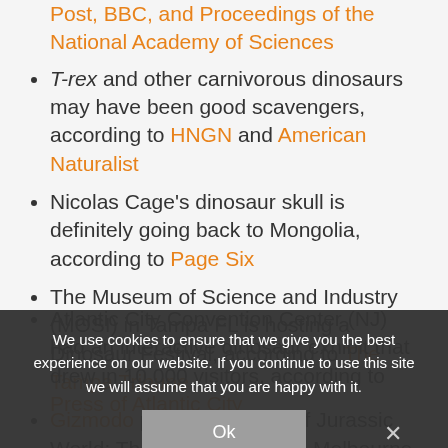Post, BBC, and Proceedings of the National Academy of Sciences
T-rex and other carnivorous dinosaurs may have been good scavengers, according to HNGN and American Naturalist
Nicolas Cage's dinosaur skull is definitely going back to Mongolia, according to Page Six
The Museum of Science and Industry (MOSI) in Tampa FL is hosting a Dinosaur Festival, according to The Tampa Tribune
Gizmodo posted a review of Jurassic World: The Exhibition at the Melbourne Museum in Australia
Atlantic City Convention Center (NJ) had an interactive dinosaur exhibit that drew in 10,000 visitors, according to Press of Atlantic City
We use cookies to ensure that we give you the best experience on our website. If you continue to use this site we will assume that you are happy with it.